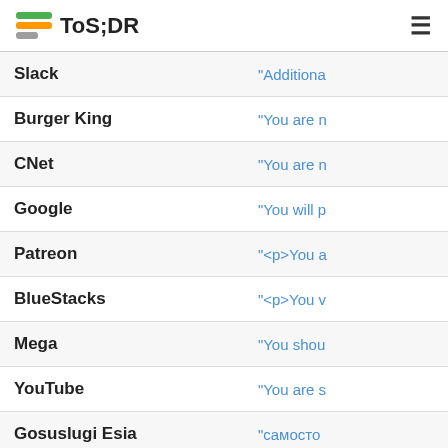ToS;DR
| Service | Quote |
| --- | --- |
| Slack | "Additiona |
| Burger King | "You are n |
| CNet | "You are n |
| Google | "You will p |
| Patreon | "<p>You a |
| BlueStacks | "<p>You v |
| Mega | "You shou |
| YouTube | "You are s |
| Gosuslugi Esia | "самосто |
| Discord | "You are n |